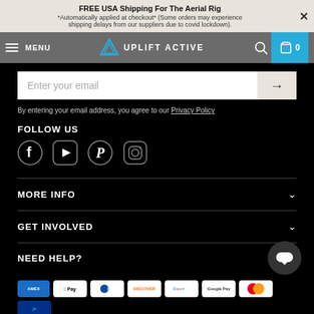FREE USA Shipping For The Aerial Rig
*Automatically applied at checkout* (Some orders may experience shipping delays from our suppliers due to covid lockdown).
[Figure (screenshot): Website navigation bar with hamburger menu, UPLIFT ACTIVE logo, search icon, and cart button showing 0 items]
Enter your email
By entering your email address, you agree to our Privacy Policy
FOLLOW US
[Figure (illustration): Social media icons: Facebook, YouTube, Pinterest, Instagram]
MORE INFO
GET INVOLVED
NEED HELP?
[Figure (illustration): Payment method icons: American Express, Apple Pay, Diners Club, Discover, Google Pay, Google Pay, Mastercard, PayPal]